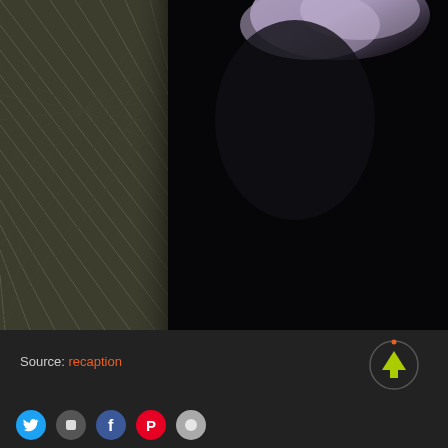[Figure (photo): Dark photograph showing a chain-link fence on the left side against a dark background, with blurred purple/lavender hair or fabric visible at the upper right. The scene is very dark with low lighting.]
Source: recaption
[Figure (other): Circular up-arrow button with green arrow and orange top indicator dot, dark circle border on dark background]
[Figure (other): Row of social sharing icon buttons: Twitter (blue), dark icon, Facebook (blue), Pinterest (red), grey icon]